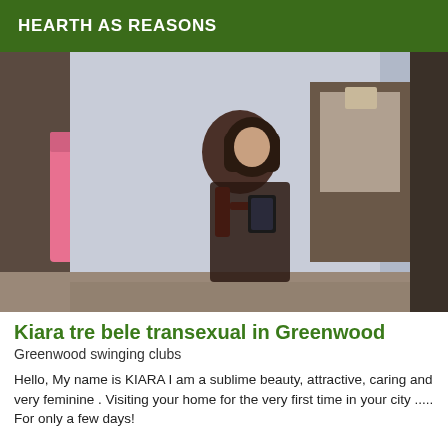HEARTH AS REASONS
[Figure (photo): A person in a dark sheer outfit with red accents taking a mirror selfie in a bedroom setting with a pink bed and wooden furniture.]
Kiara tre bele transexual in Greenwood
Greenwood swinging clubs
Hello, My name is KIARA I am a sublime beauty, attractive, caring and very feminine . Visiting your home for the very first time in your city ..... For only a few days!